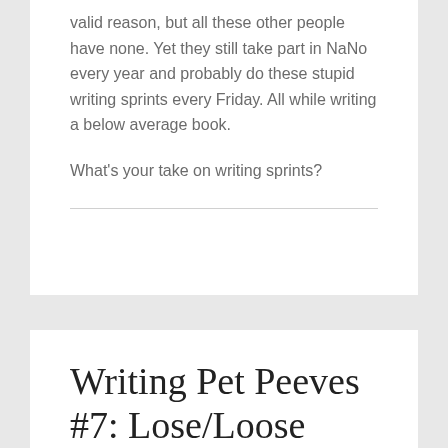valid reason, but all these other people have none. Yet they still take part in NaNo every year and probably do these stupid writing sprints every Friday. All while writing a below average book.
What's your take on writing sprints?
Writing Pet Peeves #7: Lose/Loose
MARCH 25, 2015